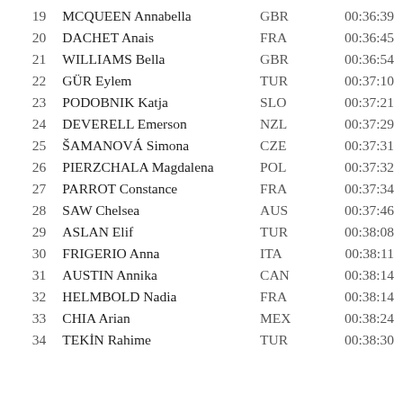| Rank | Name | Country | Time |
| --- | --- | --- | --- |
| 19 | MCQUEEN Annabella | GBR | 00:36:39 |
| 20 | DACHET Anais | FRA | 00:36:45 |
| 21 | WILLIAMS Bella | GBR | 00:36:54 |
| 22 | GÜR Eylem | TUR | 00:37:10 |
| 23 | PODOBNIK Katja | SLO | 00:37:21 |
| 24 | DEVERELL Emerson | NZL | 00:37:29 |
| 25 | ŠAMANOVÁ Simona | CZE | 00:37:31 |
| 26 | PIERZCHALA Magdalena | POL | 00:37:32 |
| 27 | PARROT Constance | FRA | 00:37:34 |
| 28 | SAW Chelsea | AUS | 00:37:46 |
| 29 | ASLAN Elif | TUR | 00:38:08 |
| 30 | FRIGERIO Anna | ITA | 00:38:11 |
| 31 | AUSTIN Annika | CAN | 00:38:14 |
| 32 | HELMBOLD Nadia | FRA | 00:38:14 |
| 33 | CHIA Arian | MEX | 00:38:24 |
| 34 | TEKİN Rahime | TUR | 00:38:30 |